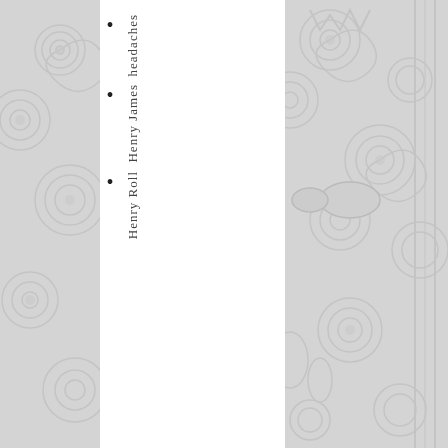[Figure (illustration): Decorative swirling pattern background covering the entire page in light grey tones]
headaches
Henry James
Henry Roll